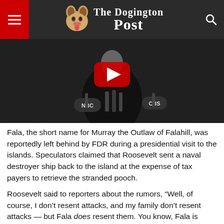The Dogington Post
[Figure (photo): Black and white photo of a man speaking at a podium with NBC and CBS microphones, with a red YouTube play button overlay in the center]
Fala, the short name for Murray the Outlaw of Falahill, was reportedly left behind by FDR during a presidential visit to the islands. Speculators claimed that Roosevelt sent a naval destroyer ship back to the island at the expense of tax payers to retrieve the stranded pooch.
Roosevelt said to reporters about the rumors, “Well, of course, I don’t resent attacks, and my family don’t resent attacks — but Fala does resent them. You know, Fala is Scotch, and being a Scottie, as soon as he learned that the Republican fiction writers in Congress and out had